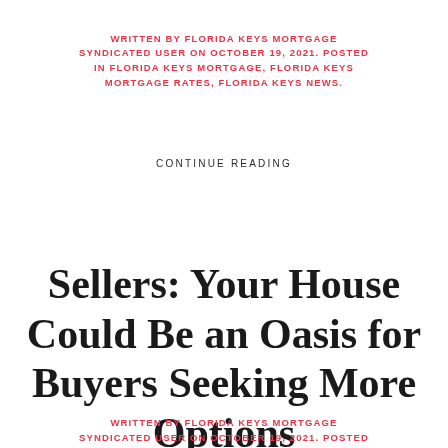WRITTEN BY FLORIDA KEYS MORTGAGE SYNDICATED USER ON OCTOBER 19, 2021. POSTED IN FLORIDA KEYS MORTGAGE, FLORIDA KEYS MORTGAGE RATES, FLORIDA KEYS NEWS.
CONTINUE READING
Sellers: Your House Could Be an Oasis for Buyers Seeking More Options
WRITTEN BY FLORIDA KEYS MORTGAGE SYNDICATED USER ON OCTOBER 19, 2021. POSTED